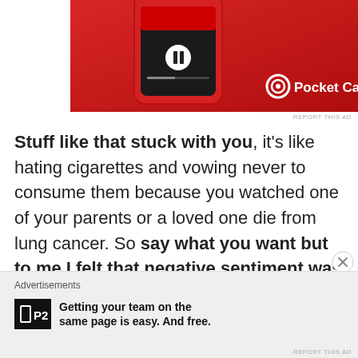[Figure (screenshot): Advertisement banner for Pocket Casts app showing a smartphone with the app interface on a red background with Pocket Casts logo and text.]
Stuff like that stuck with you, it's like hating cigarettes and vowing never to consume them because you watched one of your parents or a loved one die from lung cancer. So say what you want but to me I felt that negative sentiment was valid.
[Figure (screenshot): Advertisement banner at the bottom for P2 with text 'Getting your team on the same page is easy. And free.']